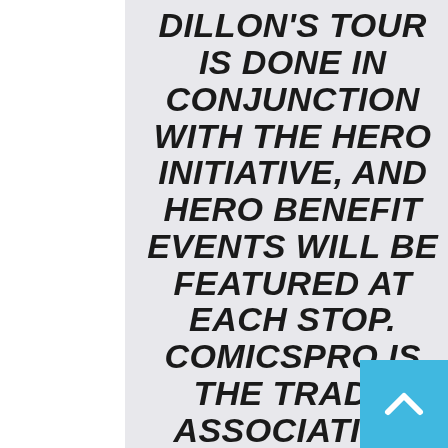DILLON'S TOUR IS DONE IN CONJUNCTION WITH THE HERO INITIATIVE, AND HERO BENEFIT EVENTS WILL BE FEATURED AT EACH STOP. COMICSPRO IS THE TRADE ASSOCIATION FOR COMICS SPECIALTY RETAILERS, AND THE HERO INITIATIVE IS THE CHARITABLE ORGANIZATION